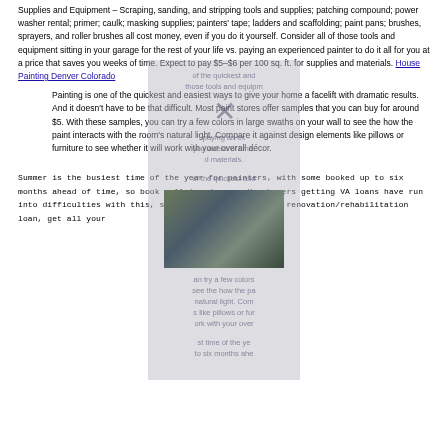Supplies and Equipment – Scraping, sanding, and stripping tools and supplies; patching compound; power washer rental; primer; caulk; masking supplies; painters' tape; ladders and scaffolding; paint pans; brushes, sprayers, and roller brushes all cost money, even if you do it yourself. Consider all of those tools and equipment sitting in your garage for the rest of your life vs. paying an experienced painter to do it all for you at a price that saves you weeks of time. Expect to pay $5–$6 per 100 sq. ft. for supplies and materials. House Painting Denver Colorado
Painting is one of the quickest and easiest ways to give your home a facelift with dramatic results. And it doesn't have to be that difficult. Most paint stores offer samples that you can buy for around $5. With these samples, you can try a few colors in large swaths on your wall to see the how the paint interacts with the room's natural light. Compare it against design elements like pillows or furniture to see whether it will work with your overall décor.
[Figure (photo): Two photos of house painters on scaffolding/ladders painting the exterior of a house]
Summer is the busiest time of the year for painters, with some booked up to six months ahead of time, so book well in advance. Homebuyers getting VA loans have run into difficulties with this, so if you're getting a VA renovation/rehabilitation loan, get all your